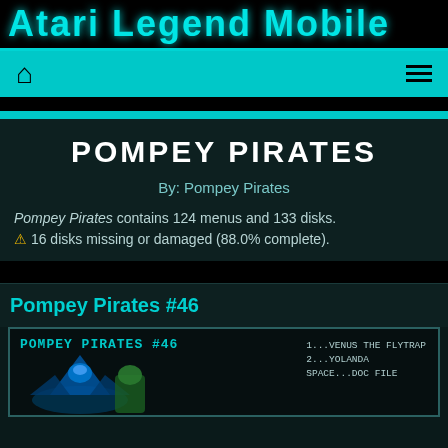Atari Legend Mobile
[Figure (screenshot): Navigation bar with home icon and hamburger menu on teal background]
POMPEY PIRATES
By: Pompey Pirates
Pompey Pirates contains 124 menus and 133 disks. ⚠ 16 disks missing or damaged (88.0% complete).
Pompey Pirates #46
[Figure (screenshot): Screenshot of Pompey Pirates #46 game menu screen showing POMPEY PIRATES #46 title in teal, game character image on left, and list on right: 1...VENUS THE FLYTRAP, 2...YOLANDA, SPACE...DOC FILE]